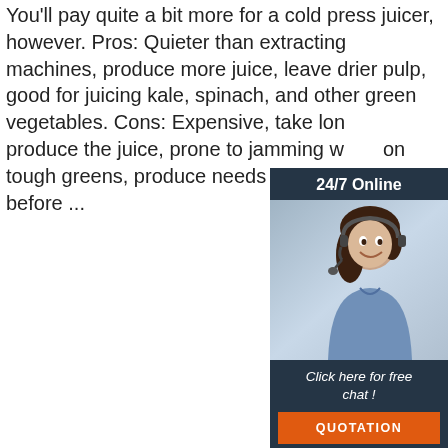You'll pay quite a bit more for a cold press juicer, however. Pros: Quieter than extracting machines, produce more juice, leave drier pulp, good for juicing kale, spinach, and other green vegetables. Cons: Expensive, take lon... produce the juice, prone to jamming w... on tough greens, produce needs to be small pieces before ...
[Figure (other): 24/7 Online chat widget with a woman wearing a headset, blue shirt, smiling. Bottom has 'Click here for free chat!' text and an orange QUOTATION button.]
[Figure (other): Orange 'Get Price' button]
[Figure (photo): Photo of a juicer/meat grinder appliance with silver metallic feed tray on top, red and blue components at the base. A red TOP badge with dots is visible in the lower right.]